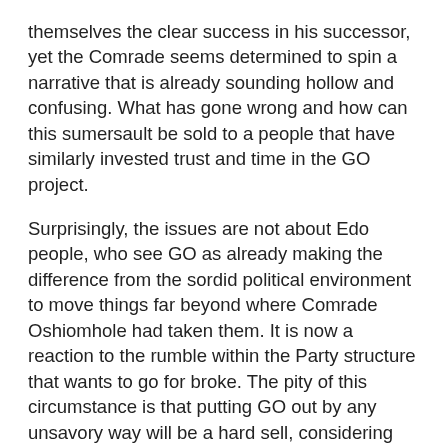themselves the clear success in his successor, yet the Comrade seems determined to spin a narrative that is already sounding hollow and confusing. What has gone wrong and how can this sumersault be sold to a people that have similarly invested trust and time in the GO project.
Surprisingly, the issues are not about Edo people, who see GO as already making the difference from the sordid political environment to move things far beyond where Comrade Oshiomhole had taken them. It is now a reaction to the rumble within the Party structure that wants to go for broke. The pity of this circumstance is that putting GO out by any unsavory way will be a hard sell, considering the myriads of developmental projects that he has brought on stream within this short half-time.
Apart from the quantum success of GO, who should be allowed to finish his first term strong, his stellar performance should actually now be the major selling points of the APC. Being a Party that came with the mantra of "integrity", the party men have finally come face to face with their own Party principle and are unable to